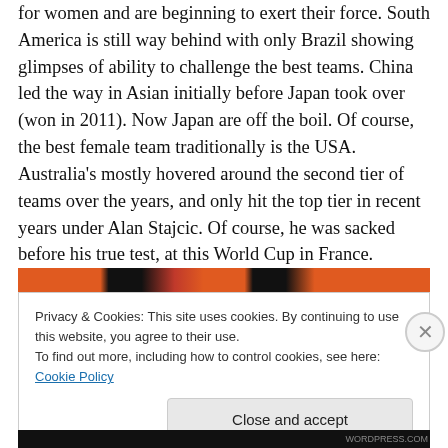for women and are beginning to exert their force. South America is still way behind with only Brazil showing glimpses of ability to challenge the best teams. China led the way in Asian initially before Japan took over (won in 2011). Now Japan are off the boil. Of course, the best female team traditionally is the USA. Australia's mostly hovered around the second tier of teams over the years, and only hit the top tier in recent years under Alan Stajcic. Of course, he was sacked before his true test, at this World Cup in France.
[Figure (photo): Partial image strip showing orange, black and red colors — appears to be a sports/football related image partially visible behind a cookie consent banner.]
Privacy & Cookies: This site uses cookies. By continuing to use this website, you agree to their use.
To find out more, including how to control cookies, see here: Cookie Policy
Close and accept